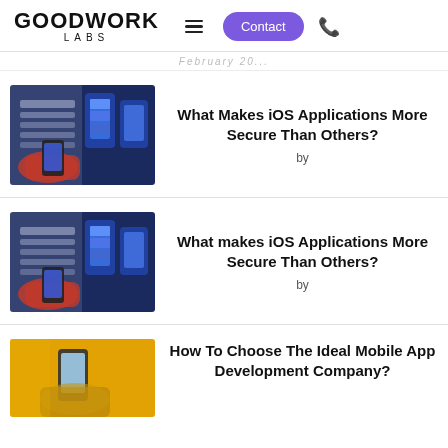GOODWORK LABS — Contact
February 20...
What Makes iOS Applications More Secure Than Others?
by
What makes iOS Applications More Secure Than Others?
by
How To Choose The Ideal Mobile App Development Company?